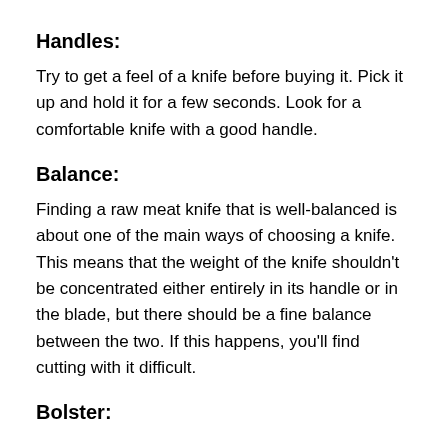Handles:
Try to get a feel of a knife before buying it. Pick it up and hold it for a few seconds. Look for a comfortable knife with a good handle.
Balance:
Finding a raw meat knife that is well-balanced is about one of the main ways of choosing a knife. This means that the weight of the knife shouldn’t be concentrated either entirely in its handle or in the blade, but there should be a fine balance between the two. If this happens, you’ll find cutting with it difficult.
Bolster: